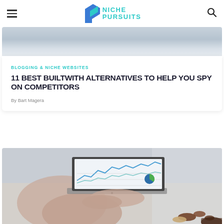NICHE PURSUITS
[Figure (photo): Cropped top portion of a photo showing a laptop on a desk, blurred/partial view]
BLOGGING & NICHE WEBSITES
11 BEST BUILTWITH ALTERNATIVES TO HELP YOU SPY ON COMPETITORS
By Bart Magera
[Figure (photo): Person's hands typing on a laptop showing analytics dashboard with line chart and pie chart, with cookies/pastries and coffee in background]